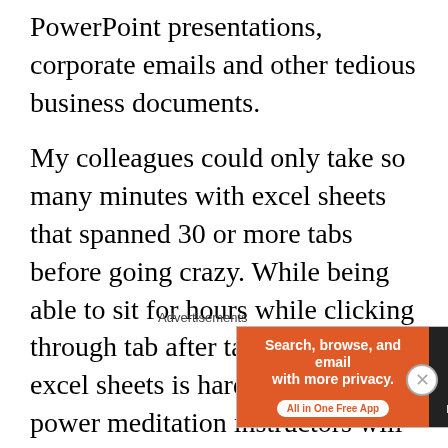PowerPoint presentations, corporate emails and other tedious business documents.
My colleagues could only take so many minutes with excel sheets that spanned 30 or more tabs before going crazy. While being able to sit for hours while clicking through tab after tab of endless excel sheets is hardly a super power meditation instructors will tout, the truth is that meditation trains your concentration and focus. At work, I was a powerhouse while others wilted and disappeared into the break room. My
[Figure (screenshot): Advertisement banner for DuckDuckGo: 'Search, browse, and email with more privacy. All in One Free App' on orange background with DuckDuckGo logo on dark background]